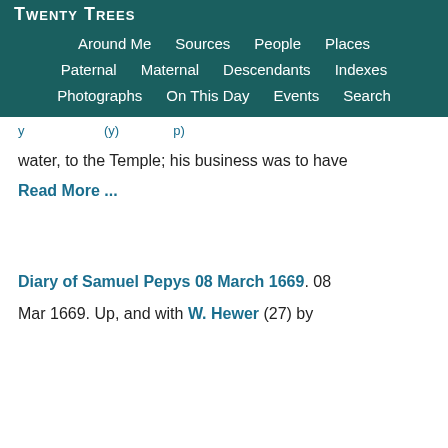Twenty Trees
Around Me   Sources   People   Places
Paternal   Maternal   Descendants   Indexes
Photographs   On This Day   Events   Search
water, to the Temple; his business was to have
Read More ...
Diary of Samuel Pepys 08 March 1669. 08
Mar 1669. Up, and with W. Hewer (27) by